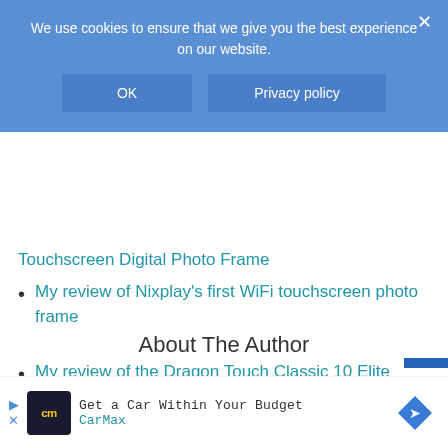[Figure (screenshot): Cookie consent banner overlay with blue background, text 'We use cookies to ensure that we give you the best experience on our website.', two buttons 'OK' and 'Privacy policy', and a close X button]
Touchscreen Digital Photo Frame (partial, clipped at top)
My review of Nixplay's first WiFi touchscreen photo frame
My review of the Dragon Touch Classic 10 Elite Digital Photo Frame with touch screen and WiFi
About The Author
[Figure (screenshot): Advertisement banner for CarMax: 'Get a Car Within Your Budget' with CarMax logo and navigation icon]